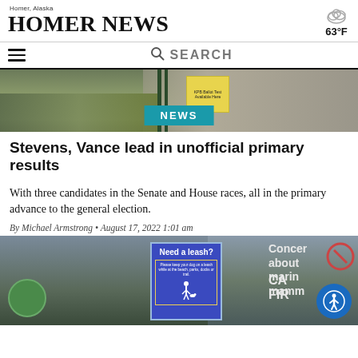Homer News — Homer, Alaska
63°F
[Figure (photo): Top photo showing outdoor scene with green poles, a yellow sign, garden beds, and a parking area. NEWS badge overlay in teal.]
Stevens, Vance lead in unofficial primary results
With three candidates in the Senate and House races, all in the primary advance to the general election.
By Michael Armstrong • August 17, 2022 1:01 am
[Figure (photo): Bottom photo showing a blue 'Need a leash?' sign, trees in background, and a partially visible 'Concerns about marine mammals' sign on the right with an accessibility button overlay.]